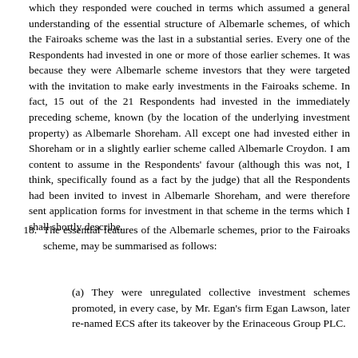which they responded were couched in terms which assumed a general understanding of the essential structure of Albemarle schemes, of which the Fairoaks scheme was the last in a substantial series. Every one of the Respondents had invested in one or more of those earlier schemes. It was because they were Albemarle scheme investors that they were targeted with the invitation to make early investments in the Fairoaks scheme. In fact, 15 out of the 21 Respondents had invested in the immediately preceding scheme, known (by the location of the underlying investment property) as Albemarle Shoreham. All except one had invested either in Shoreham or in a slightly earlier scheme called Albemarle Croydon. I am content to assume in the Respondents' favour (although this was not, I think, specifically found as a fact by the judge) that all the Respondents had been invited to invest in Albemarle Shoreham, and were therefore sent application forms for investment in that scheme in the terms which I shall shortly describe.
18. The essential features of the Albemarle schemes, prior to the Fairoaks scheme, may be summarised as follows:
(a) They were unregulated collective investment schemes promoted, in every case, by Mr. Egan's firm Egan Lawson, later re-named ECS after its takeover by the Erinaceous Group PLC.